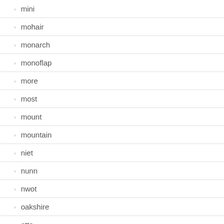mini
mohair
monarch
monoflap
more
most
mount
mountain
niet
nunn
nwot
oakshire
otto
ovation
padded